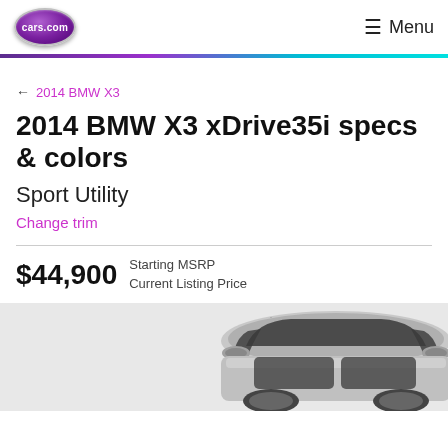cars.com  Menu
← 2014 BMW X3
2014 BMW X3 xDrive35i specs & colors
Sport Utility
Change trim
$44,900  Starting MSRP Current Listing Price
[Figure (photo): Partial view of a silver 2014 BMW X3 SUV, showing the roof, windows, and mirrors from a slightly elevated angle]